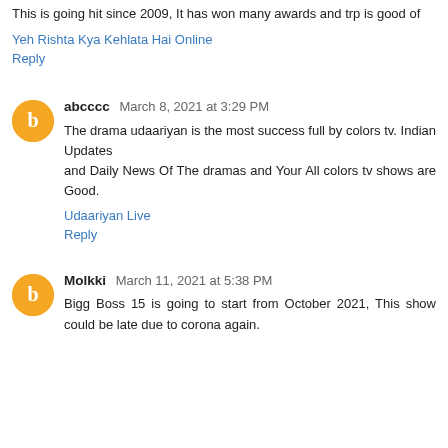This is going hit since 2009, It has won many awards and trp is good of
Yeh Rishta Kya Kehlata Hai Online
Reply
abcccc  March 8, 2021 at 3:29 PM
The drama udaariyan is the most success full by colors tv. Indian Updates
and Daily News Of The dramas and Your All colors tv shows are Good.
Udaariyan Live
Reply
Molkki  March 11, 2021 at 5:38 PM
Bigg Boss 15 is going to start from October 2021, This show could be late due to corona again.